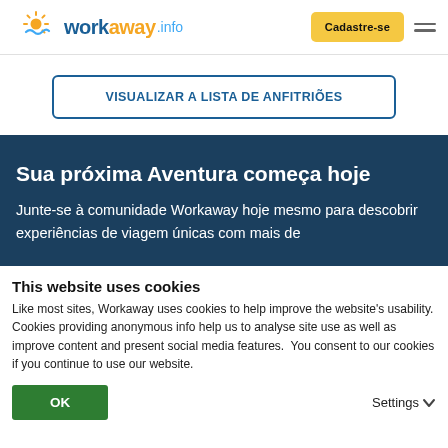[Figure (logo): Workaway.info logo with sun and wave icon, blue and yellow colors]
Cadastre-se
VISUALIZAR A LISTA DE ANFITRIÕES
Sua próxima Aventura começa hoje
Junte-se à comunidade Workaway hoje mesmo para descobrir experiências de viagem únicas com mais de
This website uses cookies
Like most sites, Workaway uses cookies to help improve the website's usability. Cookies providing anonymous info help us to analyse site use as well as improve content and present social media features.  You consent to our cookies if you continue to use our website.
OK
Settings